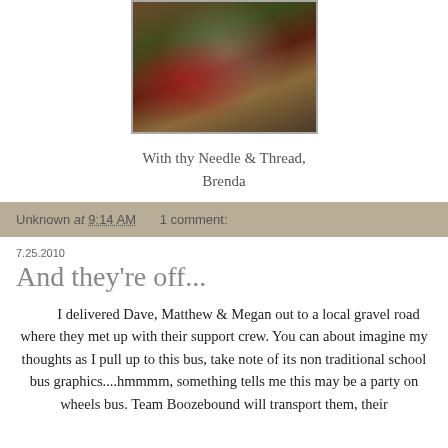[Figure (photo): Close-up photo of Christmas decorations including candy canes, pine branches, and red ornaments with a vintage/rustic feel, bordered by a gray frame.]
With thy Needle & Thread,
Brenda
Unknown at 9:14 AM    1 comment:
7.25.2010
And they're off...
I delivered Dave, Matthew & Megan out to a local gravel road where they met up with their support crew. You can about imagine my thoughts as I pull up to this bus, take note of its non traditional school bus graphics....hmmmm, something tells me this may be a party on wheels bus. Team Boozebound will transport them, their